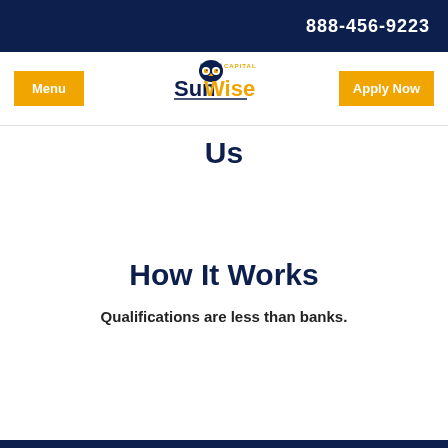888-456-9223
[Figure (logo): SunWise Capital logo with owl graphic]
Us
How It Works
Qualifications are less than banks.